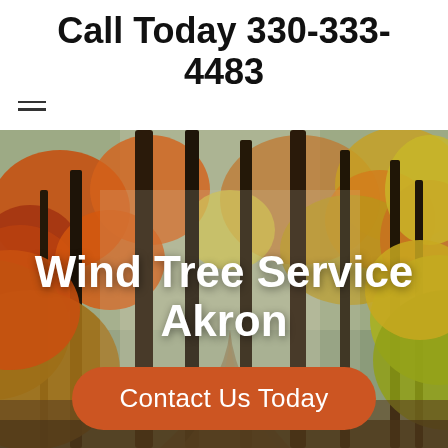Call Today 330-333-4483
[Figure (photo): Autumn forest scene with colorful orange, red, and yellow foliage with tall dark tree trunks and a path visible in the background.]
Wind Tree Service Akron
Contact Us Today